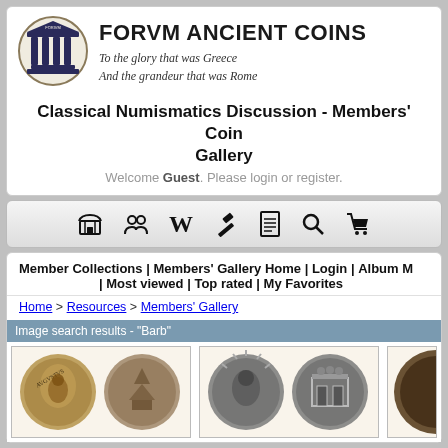[Figure (logo): Forum Ancient Coins logo - classical temple/pantheon illustration in dark blue/navy]
FORVM ANCIENT COINS
To the glory that was Greece
And the grandeur that was Rome
Classical Numismatics Discussion - Members' Coin Gallery
Welcome Guest. Please login or register.
[Figure (screenshot): Navigation toolbar with icons: home/store, people/members, Wikipedia W, hammer/auction, document, search magnifier, shopping cart]
Member Collections | Members' Gallery Home | Login | Album M | Most viewed | Top rated | My Favorites
Home > Resources > Members' Gallery
Image search results - "Barb"
[Figure (photo): Two ancient Roman coins side by side - obverse and reverse, bronze/silver patina]
[Figure (photo): Two ancient Roman coins side by side - one with radiate crown portrait, one with camp gate reverse]
[Figure (photo): Partial view of another ancient coin, dark brown patina]